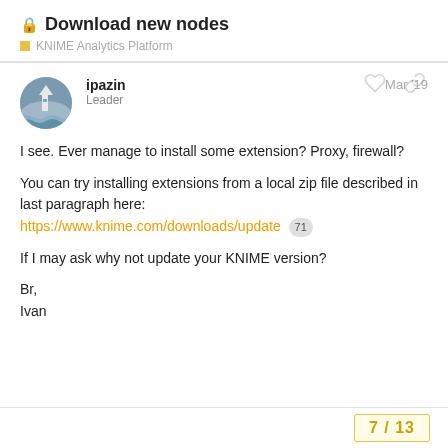Download new nodes
KNIME Analytics Platform
ipazin
Leader
Mar '19
I see. Ever manage to install some extension? Proxy, firewall?

You can try installing extensions from a local zip file described in last paragraph here:
https://www.knime.com/downloads/update 71

If I may ask why not update your KNIME version?

Br,
Ivan
7 / 13